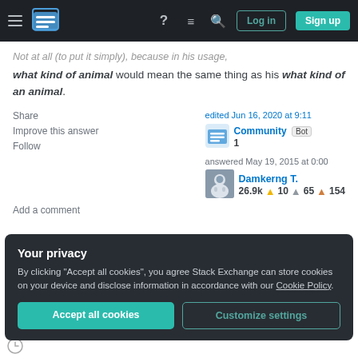Stack Exchange navigation bar with Log in and Sign up buttons
Not at all (to put it simply), because in his usage, what kind of animal would mean the same thing as his what kind of an animal.
Share   Improve this answer   Follow
edited Jun 16, 2020 at 9:11  Community Bot  1
answered May 19, 2015 at 0:00  Damkerng T.  26.9k  10  65  154
Add a comment
Your privacy
By clicking "Accept all cookies", you agree Stack Exchange can store cookies on your device and disclose information in accordance with our Cookie Policy.
Accept all cookies   Customize settings